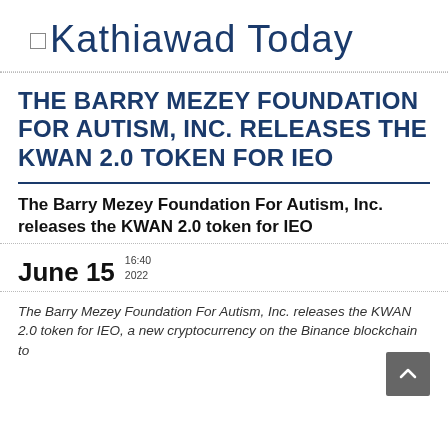Kathiawad Today
THE BARRY MEZEY FOUNDATION FOR AUTISM, INC. RELEASES THE KWAN 2.0 TOKEN FOR IEO
The Barry Mezey Foundation For Autism, Inc. releases the KWAN 2.0 token for IEO
June 15  16:40 2022
The Barry Mezey Foundation For Autism, Inc. releases the KWAN 2.0 token for IEO, a new cryptocurrency on the Binance blockchain to